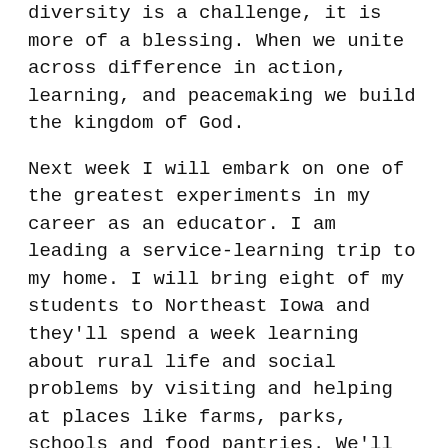diversity is a challenge, it is more of a blessing. When we unite across difference in action, learning, and peacemaking we build the kingdom of God.
Next week I will embark on one of the greatest experiments in my career as an educator. I am leading a service-learning trip to my home. I will bring eight of my students to Northeast Iowa and they'll spend a week learning about rural life and social problems by visiting and helping at places like farms, parks, schools and food pantries. We'll pray through Holy Week as we journey together. They'll get to meet teens who are very different than them and understand more about humanity.
The service trip will be interesting and amazing. We're really excited about the inevitable adventures and fun. I am thrilled and honored to be able to do the work of bridging cultures and opening others to Truth. I have faith that God will be doing great things in our hearts